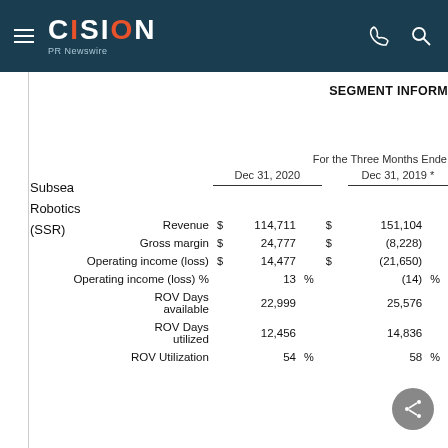CISION PR Newswire
SEGMENT INFORM
|  | $ | Dec 31, 2020 | % | $ | Dec 31, 2019 * | % |
| --- | --- | --- | --- | --- | --- | --- |
| Revenue | $ | 114,711 |  | $ | 151,104 |  |
| Gross margin | $ | 24,777 |  | $ | (8,228) |  |
| Operating income (loss) | $ | 14,477 |  | $ | (21,650) |  |
| Operating income (loss) % |  | 13 | % |  | (14) | % |
| ROV Days available |  | 22,999 |  |  | 25,576 |  |
| ROV Days utilized |  | 12,456 |  |  | 14,836 |  |
| ROV Utilization |  | 54 | % |  | 58 | % |